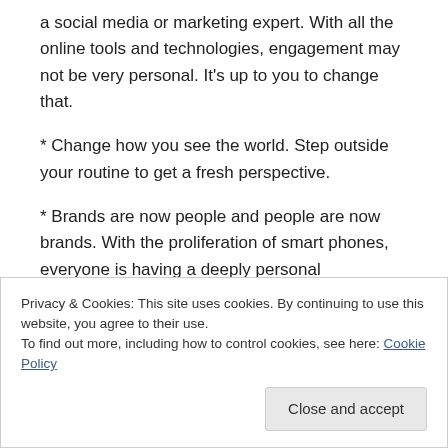a social media or marketing expert. With all the online tools and technologies, engagement may not be very personal. It's up to you to change that.
* Change how you see the world. Step outside your routine to get a fresh perspective.
* Brands are now people and people are now brands. With the proliferation of smart phones, everyone is having a deeply personal relationship with products.
* It's now about Generation C – this generation isn't
Privacy & Cookies: This site uses cookies. By continuing to use this website, you agree to their use.
To find out more, including how to control cookies, see here: Cookie Policy